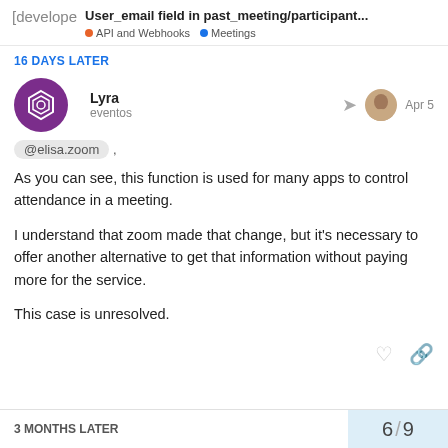[develope  User_email field in past_meeting/participant...  API and Webhooks  Meetings
16 DAYS LATER
Lyra
eventos
Apr 5
@elisa.zoom ,
As you can see, this function is used for many apps to control attendance in a meeting.
I understand that zoom made that change, but it's necessary to offer another alternative to get that information without paying more for the service.
This case is unresolved.
3 MONTHS LATER
6 / 9